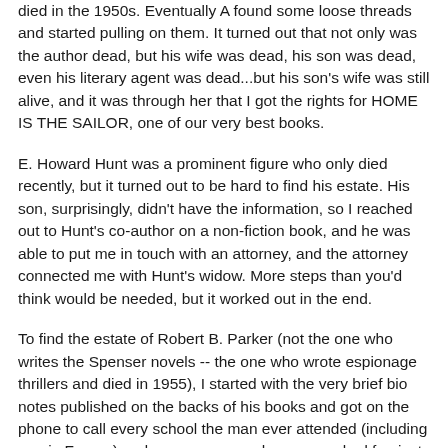died in the 1950s. Eventually A found some loose threads and started pulling on them. It turned out that not only was the author dead, but his wife was dead, his son was dead, even his literary agent was dead...but his son's wife was still alive, and it was through her that I got the rights for HOME IS THE SAILOR, one of our very best books.
E. Howard Hunt was a prominent figure who only died recently, but it turned out to be hard to find his estate. His son, surprisingly, didn't have the information, so I reached out to Hunt's co-author on a non-fiction book, and he was able to put me in touch with an attorney, and the attorney connected me with Hunt's widow. More steps than you'd think would be needed, but it worked out in the end.
To find the estate of Robert B. Parker (not the one who writes the Spenser novels -- the one who wrote espionage thrillers and died in 1955), I started with the very brief bio notes published on the backs of his books and got on the phone to call every school the man ever attended (including one in France) and every company he ever worked for, just to see if they might have any information in their records that would help. Bit by bit I built up a detailed biography for the